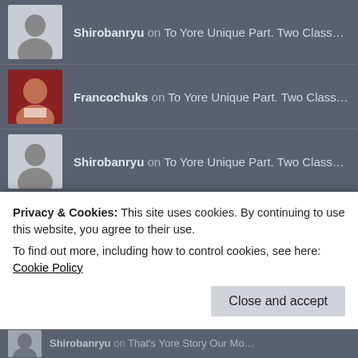Shirobanryu on To Yore Unique Part. Two Class...
Francochuks on To Yore Unique Part. Two Class...
Shirobanryu on To Yore Unique Part. Two Class...
Tanmay Philip on To Yore Unique Part. Two Class...
Shirobanryu on Quirky Quotes Quaintly Done. #...
BBYCGN on Quirky Quotes Quaintly Done. #...
Shirobanryu on Quirky Quotes Quaintly. Done....
Shirobanryu on Quirky Quotes Quaintly. Done....
doublenenealogythread... on Quirky Quotes Quaintly. Done...
Privacy & Cookies: This site uses cookies. By continuing to use this website, you agree to their use.
To find out more, including how to control cookies, see here:
Cookie Policy
Close and accept
Shirobanryu on That's Yore Story Our Mo...